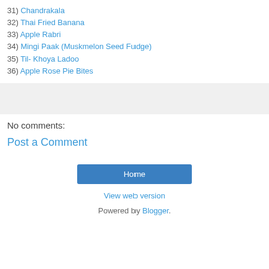31) Chandrakala
32) Thai Fried Banana
33) Apple Rabri
34) Mingi Paak (Muskmelon Seed Fudge)
35) Til- Khoya Ladoo
36) Apple Rose Pie Bites
[Figure (other): Gray advertisement or image placeholder box]
No comments:
Post a Comment
Home
View web version
Powered by Blogger.